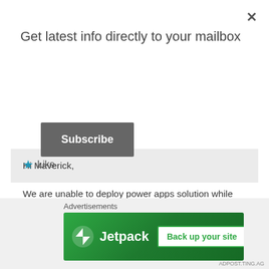Get latest info directly to your mailbox
Subscribe
Hi Maverick,

We are unable to deploy power apps solution while using XrmToolBox. We are seeing the below error "No profiles were found on this computer. Please run "pac auth create" to create one". Kindly help us resolve this issue.
Like
Reply
Advertisements
[Figure (infographic): Jetpack advertisement banner with logo and 'Back up your site' button on green background]